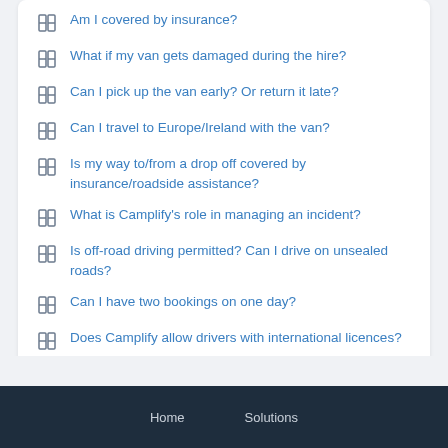Am I covered by insurance?
What if my van gets damaged during the hire?
Can I pick up the van early? Or return it late?
Can I travel to Europe/Ireland with the van?
Is my way to/from a drop off covered by insurance/roadside assistance?
What is Camplify's role in managing an incident?
Is off-road driving permitted? Can I drive on unsealed roads?
Can I have two bookings on one day?
Does Camplify allow drivers with international licences?
Home    Solutions